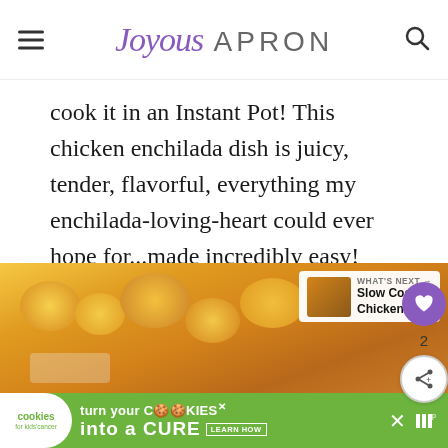Joyous APRON
cook it in an Instant Pot! This chicken enchilada dish is juicy, tender, flavorful, everything my enchilada-loving-heart could ever hope for...made incredibly easy!
It is hard to make enchiladas the traditional way after this!
[Figure (photo): Close-up photo of cheesy chicken enchilada casserole in a baking dish, golden and bubbly with melted cheese and herbs visible]
[Figure (infographic): WHAT'S NEXT advertisement overlay showing a thumbnail and text: Slow Cooker Chicken...]
[Figure (infographic): Advertisement banner: cookies for kids cancer - turn your COOKIES into a CURE LEARN HOW]